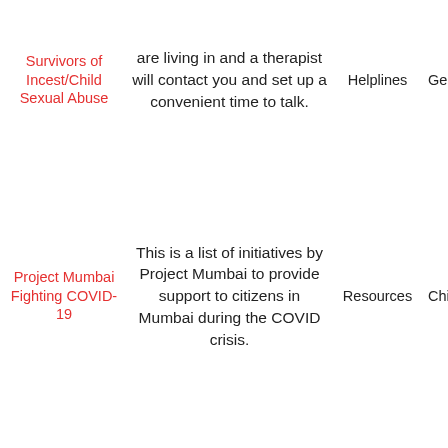| Name | Description | Tag1 | Tag2 |
| --- | --- | --- | --- |
| Survivors of Incest/Child Sexual Abuse | are living in and a therapist will contact you and set up a convenient time to talk. | Helplines | General |
| Project Mumbai Fighting COVID-19 | This is a list of initiatives by Project Mumbai to provide support to citizens in Mumbai during the COVID crisis. | Resources | Children |
| Verified Support Services for Women facing Domestic Violence During Lockdown in Delhi | This is a compiled list of helpline numbers, shelter homes and One-Stop Centres operational in NCT of Delhi, for providing direct support services to women facing domestic violence during the COVID crisis. | Helplines | General |